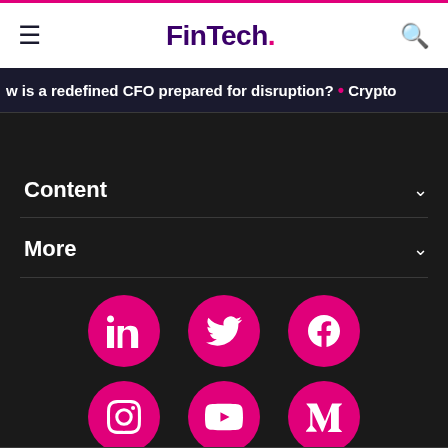FinTech.
w is a redefined CFO prepared for disruption? • Crypto
Content
More
[Figure (infographic): Six social media icons in pink circles arranged in two rows: LinkedIn, Twitter, Facebook (top row); Instagram, YouTube, Medium (bottom row)]